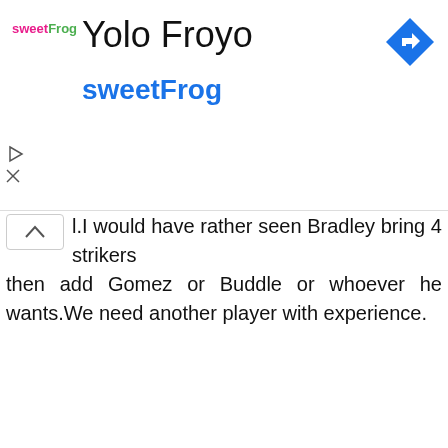[Figure (logo): sweetFrog logo with pink 'sweet' and green 'Frog' text]
Yolo Froyo
sweetFrog
[Figure (other): Blue diamond navigation/directions icon with white right-turn arrow]
l.I would have rather seen Bradley bring 4 strikers then add Gomez or Buddle or whoever he wants.We need another player with experience.